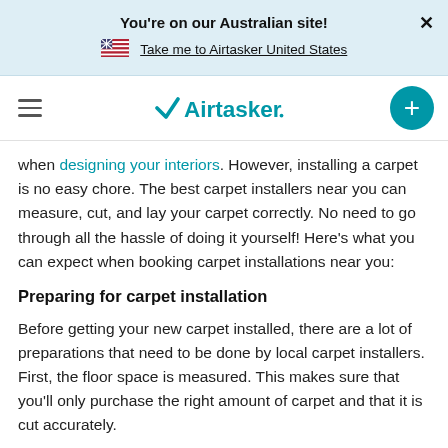You're on our Australian site!
Take me to Airtasker United States
[Figure (logo): Airtasker logo with hamburger menu icon and teal plus button]
when designing your interiors. However, installing a carpet is no easy chore. The best carpet installers near you can measure, cut, and lay your carpet correctly. No need to go through all the hassle of doing it yourself! Here's what you can expect when booking carpet installations near you:
Preparing for carpet installation
Before getting your new carpet installed, there are a lot of preparations that need to be done by local carpet installers. First, the floor space is measured. This makes sure that you'll only purchase the right amount of carpet and that it is cut accurately.